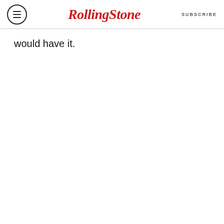Rolling Stone  SUBSCRIBE
would have it.